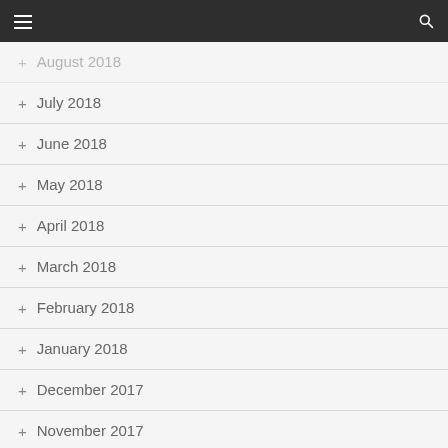navigation bar with hamburger menu and search icon
+ August 2018
+ July 2018
+ June 2018
+ May 2018
+ April 2018
+ March 2018
+ February 2018
+ January 2018
+ December 2017
+ November 2017